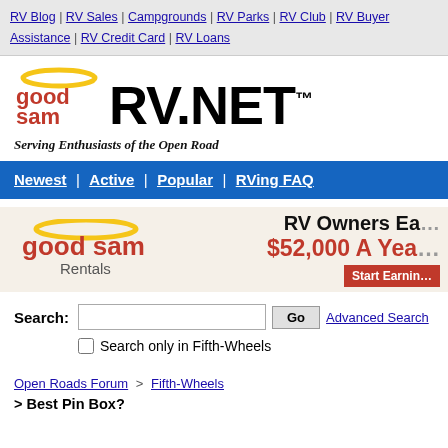RV Blog | RV Sales | Campgrounds | RV Parks | RV Club | RV Buyer Assistance | RV Credit Card | RV Loans
[Figure (logo): Good Sam RV.NET logo - Serving Enthusiasts of the Open Road]
Newest | Active | Popular | RVing FAQ
[Figure (advertisement): Good Sam Rentals ad - RV Owners Earn $52,000 A Year - Start Earning]
Search: [input] Go  Advanced Search
☐ Search only in Fifth-Wheels
Open Roads Forum > Fifth-Wheels
> Best Pin Box?